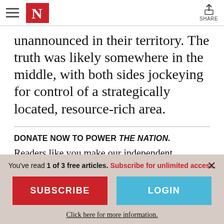The Nation – navigation header with hamburger menu, N logo, and Share button
unannounced in their territory. The truth was likely somewhere in the middle, with both sides jockeying for control of a strategically located, resource-rich area.
DONATE NOW TO POWER THE NATION.
Readers like you make our independent journalism possible.
You've read 1 of 3 free articles. Subscribe for unlimited access.
SUBSCRIBE
LOGIN
Click here for more information.